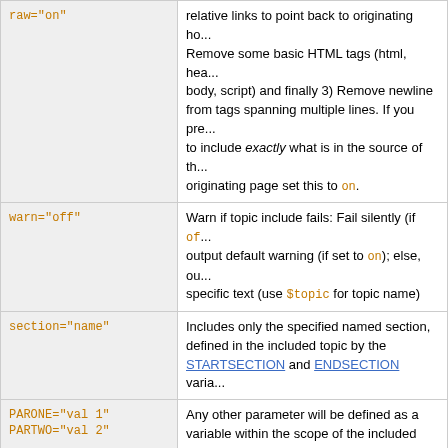| Parameter | Description |
| --- | --- |
| raw="on" | relative links to point back to originating ho... Remove some basic HTML tags (html, hea... body, script) and finally 3) Remove newline from tags spanning multiple lines. If you pre... to include exactly what is in the source of th... originating page set this to on. |
| warn="off" | Warn if topic include fails: Fail silently (if of... output default warning (if set to on); else, ou... specific text (use $topic for topic name) |
| section="name" | Includes only the specified named section, defined in the included topic by the STARTSECTION and ENDSECTION varia... |
| PARONE="val 1"
PARTWO="val 2" | Any other parameter will be defined as a variable within the scope of the included to... The example parameters on the left will res... %PARONE% and %PARTWO% being defined within... included topic. |
Note: JavaScript in included webpages is filtered out as a security precaution per default (disable filter with raw parameter)
Examples: See IncludeTopicsAndWebPages
Related: BASETOPIC, BASEWEB, INCLUDINGTOPIC, INCLUDINGWEB, STARTINCLUDE, STOPINCLUDE